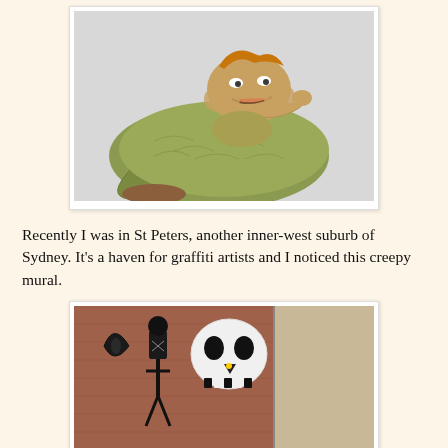[Figure (photo): A figurine or sculpture resembling a slug-like creature (similar to Jabba the Hutt) with a human-like face on top, displayed on a white surface.]
Recently I was in St Peters, another inner-west suburb of Sydney. It's a haven for graffiti artists and I noticed this creepy mural.
[Figure (photo): A brick wall covered in graffiti murals including skulls, a skeletal figure, and other dark imagery painted on the corner of a building.]